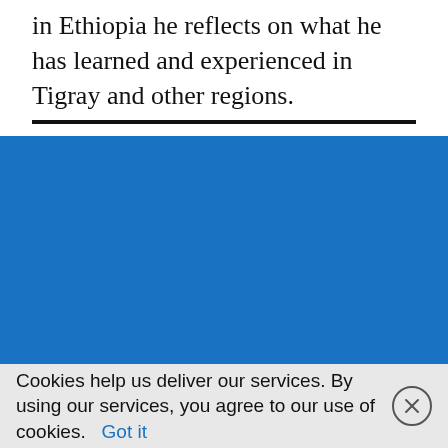in Ethiopia he reflects on what he has learned and experienced in Tigray and other regions.
[Figure (illustration): Solid blue rectangle filling the middle and lower portion of the page, representing an image or embedded media area.]
Cookies help us deliver our services. By using our services, you agree to our use of cookies.  Got it